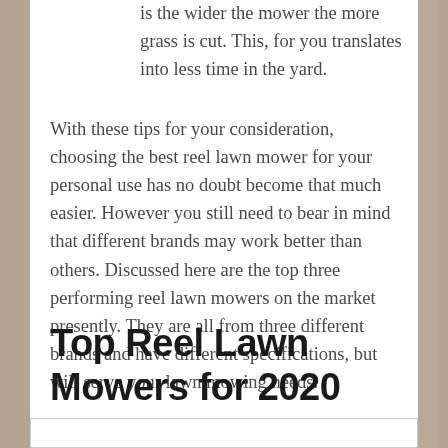is the wider the mower the more grass is cut. This, for you translates into less time in the yard.
With these tips for your consideration, choosing the best reel lawn mower for your personal use has no doubt become that much easier. However you still need to bear in mind that different brands may work better than others. Discussed here are the top three performing reel lawn mowers on the market presently. They are all from three different brands and have different specifications, but will serve your lawn mowing needs.
Top Reel Lawn Mowers for 2020